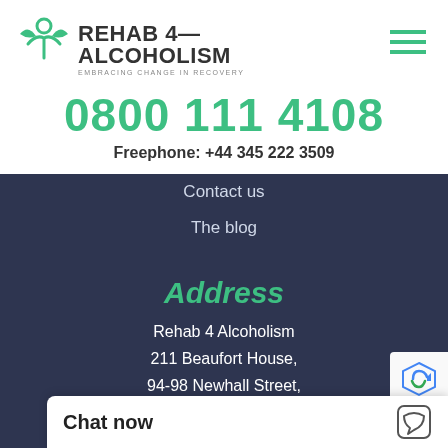[Figure (logo): Rehab 4 Alcoholism logo with green leaf/person icon and text 'REHAB 4 ALCOHOLISM - EMBRACING CHANGE IN RECOVERY']
0800 111 4108
Freephone: +44 345 222 3509
Contact us
The blog
Address
Rehab 4 Alcoholism
211 Beaufort House,
94-98 Newhall Street,
Birmingham,
Chat now